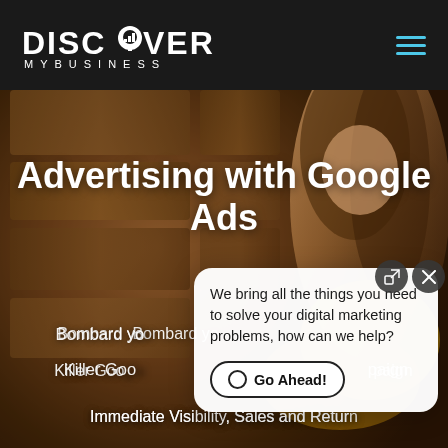[Figure (screenshot): Navigation bar with Discover My Business logo on dark background and hamburger menu icon in teal/cyan color on right]
[Figure (photo): Hero section with warm wooden bokeh background and a woman with brown hair looking at something, partially visible on the right side]
Advertising with Google Ads
Bombard your audience
Killer Google Ads campaign
Immediate Visibility, Sales and Return
[Figure (screenshot): Chat popup widget with white rounded rectangle containing text 'We bring all the things you need to solve your digital marketing problems, how can we help?' and a 'Go Ahead!' button with radio icon, plus expand and close icons in top-right corner]